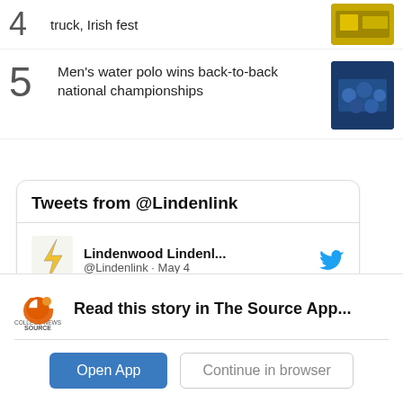4  truck, Irish fest
5  Men's water polo wins back-to-back national championships
Tweets from @Lindenlink
Lindenwood Lindenl... @Lindenlink · May 4
New dining and food options for Fall 2022
lindenlink.com/177039/news/ne...
Read this story in The Source App...
Open App
Continue in browser